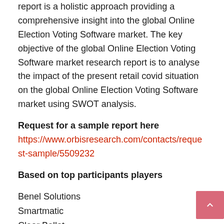report is a holistic approach providing a comprehensive insight into the global Online Election Voting Software market. The key objective of the global Online Election Voting Software market research report is to analyse the impact of the present retail covid situation on the global Online Election Voting Software market using SWOT analysis.
Request for a sample report here
https://www.orbisresearch.com/contacts/request-sample/5509232
Based on top participants players
Benel Solutions
Smartmatic
Clear Ballot